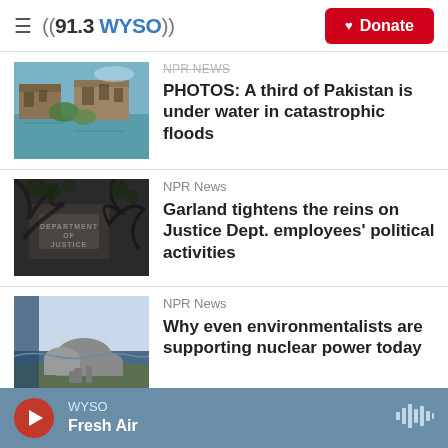((91.3WYSO)) Donate
[Figure (photo): Flooded ruins of buildings in Pakistan with water surrounding them and green vegetation]
NPR News
PHOTOS: A third of Pakistan is under water in catastrophic floods
[Figure (photo): Department of Justice sign/building seen through tree branches, black and white]
NPR News
Garland tightens the reins on Justice Dept. employees' political activities
[Figure (photo): Nuclear power plant domes near a body of water, aerial/distant view]
NPR News
Why even environmentalists are supporting nuclear power today
WYSO Fresh Air